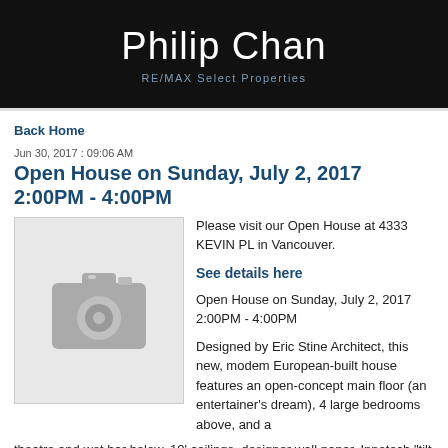Philip Chan
RE/MAX Select Properties
Back Home
Jun 30, 2017 : 09:06 AM
Open House on Sunday, July 2, 2017 2:00PM - 4:00PM
[Figure (photo): Photo placeholder with camera icon]
Please visit our Open House at 4333 KEVIN PL in Vancouver.
See details here
Open House on Sunday, July 2, 2017 2:00PM - 4:00PM
Designed by Eric Stine Architect, this new, modem European-built house features an open-concept main floor (an entertainer's dream), 4 large bedrooms above, and a theatre and wet bar below. 10' ceilings, designer wall paper, Innotech "tilt & turn" windows throughout, built-in security and sound systems, contemporary light fixtures & attached garage - no expense spared on this gorgeous home. The kitchen is a real show-stopper, with a top-of-the-line Miele appliance package, and an add'l wok-kitchen. Located in the prestigious Dunbar neighbourhood, this property is close to banks, shops, cafes, and the community centre. It is also a stone's throw to a,